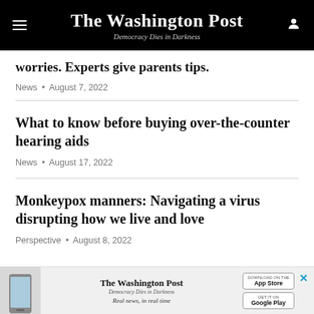The Washington Post — Democracy Dies in Darkness
worries. Experts give parents tips.
News • August 7, 2022
What to know before buying over-the-counter hearing aids
News • August 17, 2022
Monkeypox manners: Navigating a virus disrupting how we live and love
Perspective • August 8, 2022
[Figure (infographic): Washington Post app advertisement banner with phone image, Washington Post logo, tagline 'Real news, in real time', App Store and Google Play buttons, and close (X) button]